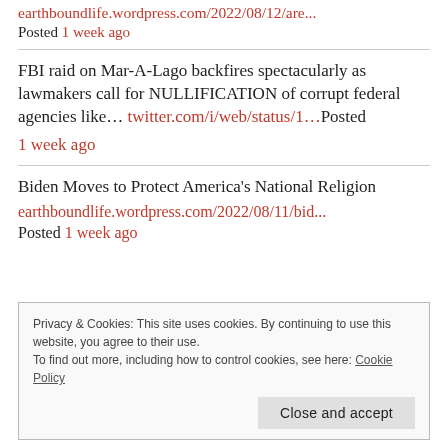earthboundlife.wordpress.com/2022/08/12/are... Posted 1 week ago
FBI raid on Mar-A-Lago backfires spectacularly as lawmakers call for NULLIFICATION of corrupt federal agencies like... twitter.com/i/web/status/1...Posted 1 week ago
Biden Moves to Protect America’s National Religion earthboundlife.wordpress.com/2022/08/11/bid... Posted 1 week ago
Privacy & Cookies: This site uses cookies. By continuing to use this website, you agree to their use. To find out more, including how to control cookies, see here: Cookie Policy Close and accept